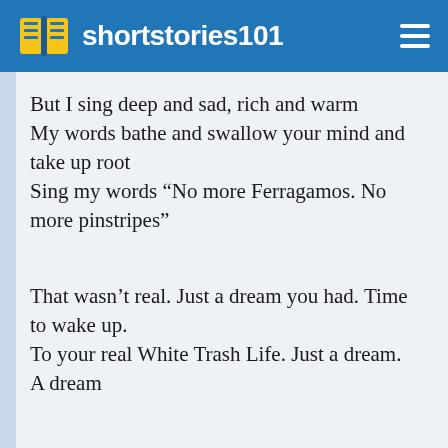shortstories101
But I sing deep and sad, rich and warm
My words bathe and swallow your mind and take up root
Sing my words “No more Ferragamos. No more pinstripes”
That wasn’t real. Just a dream you had. Time to wake up.
To your real White Trash Life. Just a dream. A dream
Your eyes dull, you whisper, “NO MORE PINSTRIPES FOR ME